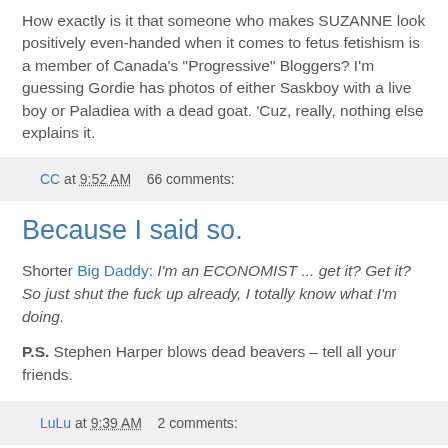How exactly is it that someone who makes SUZANNE look positively even-handed when it comes to fetus fetishism is a member of Canada's "Progressive" Bloggers? I'm guessing Gordie has photos of either Saskboy with a live boy or Paladiea with a dead goat. 'Cuz, really, nothing else explains it.
CC at 9:52 AM    66 comments:
Because I said so.
Shorter Big Daddy: I'm an ECONOMIST ... get it? Get it? So just shut the fuck up already, I totally know what I'm doing.
P.S. Stephen Harper blows dead beavers – tell all your friends.
LuLu at 9:39 AM    2 comments: